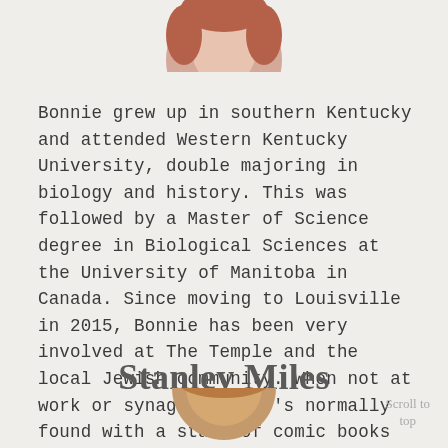[Figure (photo): Circular portrait photo of a person with reddish-brown hair, cropped at top of page]
Bonnie grew up in southern Kentucky and attended Western Kentucky University, double majoring in biology and history. This was followed by a Master of Science degree in Biological Sciences at the University of Manitoba in Canada. Since moving to Louisville in 2015, Bonnie has been very involved at The Temple and the local Jewish community. When not at work or synagogue, she's normally found with a stack of comic books or a knitting project.
Stanley Miles
[Figure (photo): Circular portrait photo partially visible at bottom of page]
Scroll to top